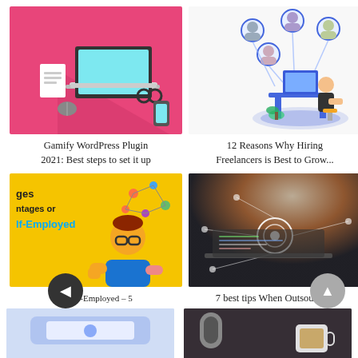[Figure (illustration): Pink background with laptop, documents, glasses, and phone flat design illustration]
Gamify WordPress Plugin 2021: Best steps to set it up
[Figure (illustration): Isometric illustration of a person at a desk with floating user/profile icons connected in a network, blue and white tones]
12 Reasons Why Hiring Freelancers is Best to Grow...
[Figure (illustration): Yellow background infographic illustration with text 'ages & ntages or lf-Employed' and a cartoon character with glasses]
Being Self-Employed – 5 Advantages And Disadvantages
[Figure (photo): Photo of a laptop with digital overlay graphics and a glowing circular element, dark technology theme]
7 best tips When Outsourcing Software Projects
[Figure (illustration): Partial image of a light blue/purple illustrated scene]
[Figure (photo): Partial photo of a microphone and coffee cup, dark background]